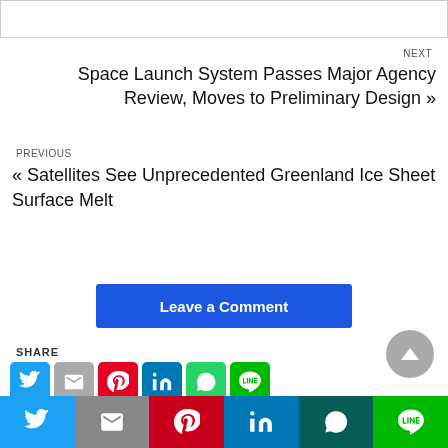[Figure (other): Top image area, partially visible, white/light grey]
NEXT
Space Launch System Passes Major Agency Review, Moves to Preliminary Design »
PREVIOUS
« Satellites See Unprecedented Greenland Ice Sheet Surface Melt
Leave a Comment
SHARE